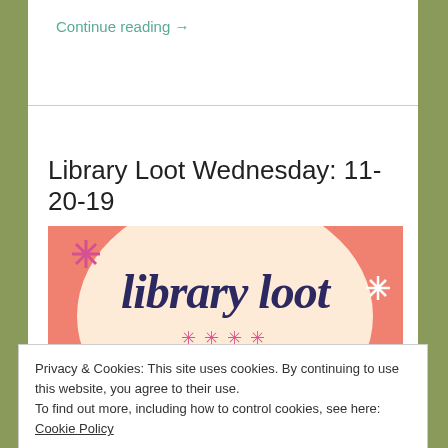Continue reading →
Library Loot Wednesday: 11-20-19
[Figure (illustration): Library Loot banner image with coral/salmon background, a large cream-colored circle in the center with the text 'library loot' in dark serif italic font, decorative asterisk/star shapes in pink and white, and partial text at the bottom.]
Privacy & Cookies: This site uses cookies. By continuing to use this website, you agree to their use.
To find out more, including how to control cookies, see here: Cookie Policy
Close and accept
So it's been a HOT MINUTE since I've posted